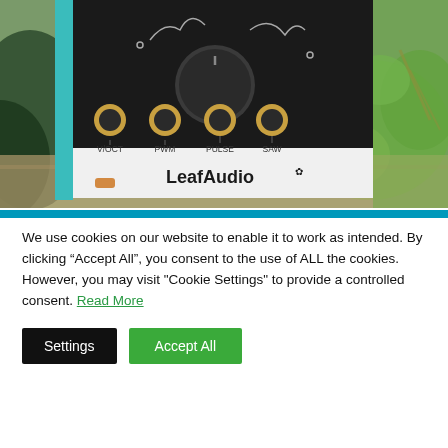[Figure (photo): Close-up photo of a LeafAudio modular synthesizer module with a large black knob labeled PW, four gold jack sockets labeled V/OCT, PWM, PULSE, SAW, a teal/mint colored panel edge, and surrounding green plants and foliage on a wooden surface.]
We use cookies on our website to enable it to work as intended. By clicking “Accept All”, you consent to the use of ALL the cookies. However, you may visit "Cookie Settings" to provide a controlled consent. Read More
Settings
Accept All